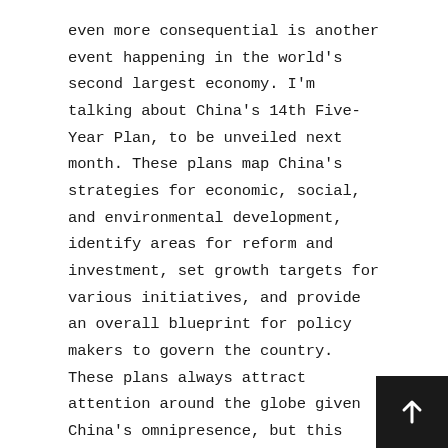even more consequential is another event happening in the world's second largest economy. I'm talking about China's 14th Five-Year Plan, to be unveiled next month. These plans map China's strategies for economic, social, and environmental development, identify areas for reform and investment, set growth targets for various initiatives, and provide an overall blueprint for policy makers to govern the country. These plans always attract attention around the globe given China's omnipresence, but this year's brings potentially greater implications for businesses and markets due to the escalating rivalry with the United States. We expect the upcoming Five-Year Plan, combined with the new confrontational relationship between the superpowers, to benefit a number of investments in our International ADR and Global portfolios (and to suggest new ones). Many of these companies deliver crucial products and services to China, but since they're not U.S.-based, have less risk of suffering from potential retaliatory measures by